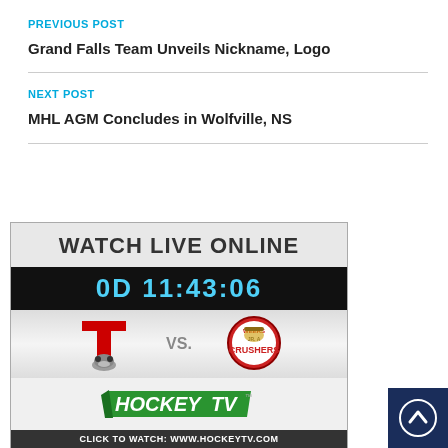PREVIOUS POST
Grand Falls Team Unveils Nickname, Logo
NEXT POST
MHL AGM Concludes in Wolfville, NS
[Figure (infographic): Watch Live Online banner showing HockeyTV countdown (0D 11:43:06), teams (T vs Crushers Jr A), HockeyTV logo, and click to watch www.hockeytv.com footer]